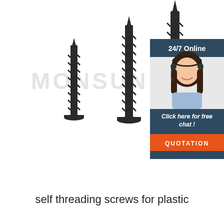[Figure (photo): Three black self-threading screws of increasing size, standing upright on white background. Watermark text 'MONSUN' overlaid in light gray. In the top-right corner, a customer service chat widget with '24/7 Online' header, a photo of a woman with a headset, 'Click here for free chat!' text, and an orange 'QUOTATION' button.]
self threading screws for plastic